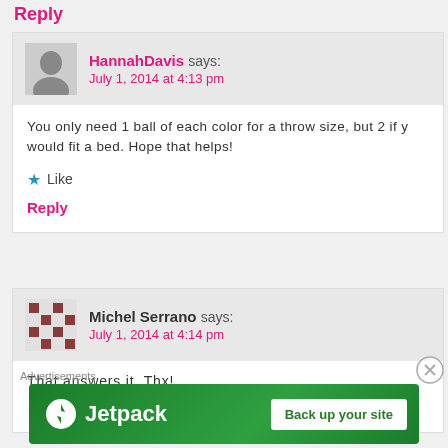Reply
HannahDavis says: July 1, 2014 at 4:13 pm
You only need 1 ball of each color for a throw size, but 2 if y would fit a bed. Hope that helps!
★ Like
Reply
Michel Serrano says: July 1, 2014 at 4:14 pm
That answers it. Thx!
★ Like
[Figure (screenshot): Jetpack advertisement banner with green background, Jetpack logo and 'Back up your site' button]